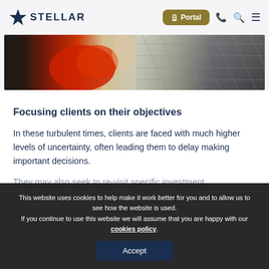STELLAR — Portal navigation header
[Figure (photo): Hero banner image showing rope/net marine equipment in red and dark tones]
Focusing clients on their objectives
In these turbulent times, clients are faced with much higher levels of uncertainty, often leading them to delay making important decisions.
They may also seek to re-visit specific investment
This website uses cookies to help make it work better for you and to allow us to see how the website is used. If you continue to use this website we will assume that you are happy with our cookies policy.